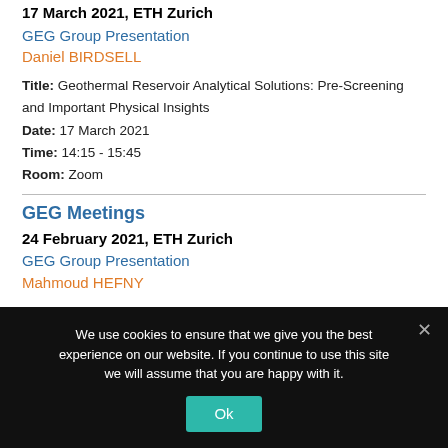17 March 2021, ETH Zurich
GEG Group Presentation
Daniel BIRDSELL
Title: Geothermal Reservoir Analytical Solutions: Pre-Screening and Important Physical Insights
Date: 17 March 2021
Time: 14:15 - 15:45
Room: Zoom
GEG Meetings
24 February 2021, ETH Zurich
GEG Group Presentation
Mahmoud HEFNY
We use cookies to ensure that we give you the best experience on our website. If you continue to use this site we will assume that you are happy with it.